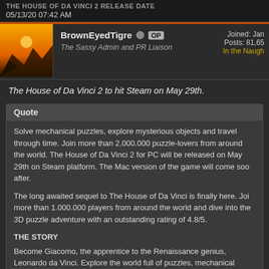05/13/20 07:42 AM
BrownEyedTigre OP
The Sassy Admin and PR Liaison
Joined: Jan
Posts: 81,65
In the Naugh
The House of Da Vinci 2 to hit Steam on May 29th.
Quote
Solve mechanical puzzles, explore mysterious objects and travel through time. Join more than 2.000.000 puzzle-lovers from around the world. The House of Da Vinci 2 for PC will be released on May 29th on Steam platform. The Mac version of the game will come soon after.

The long awaited sequel to The House of Da Vinci is finally here. Join more than 1.000.000 players from around the world and dive into the 3D puzzle adventure with an outstanding rating of 4.8/5.

THE STORY
Become Giacomo, the apprentice to the Renaissance genius, Leonardo da Vinci. Explore the world full of puzzles, mechanical gadgets and mind-twisting inventions. Travel through time and witness a series of mysterious events that led to the greatest discovery in human history.